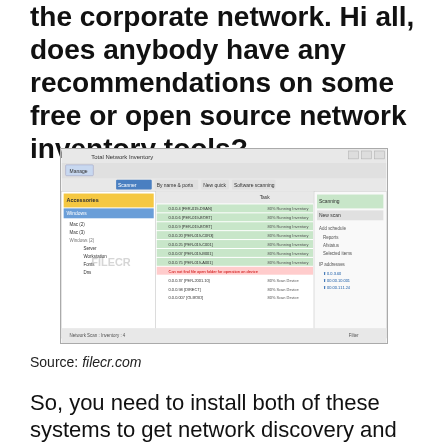the corporate network. Hi all, does anybody have any recommendations on some free or open source network inventory tools?
[Figure (screenshot): Screenshot of Total Network Inventory software application showing network scan results with a list of IP addresses and device statuses in a Windows-style GUI with green and yellow highlighted rows.]
Source: filecr.com
So, you need to install both of these systems to get network discovery and monitoring. Software inventory lazarus free pascal